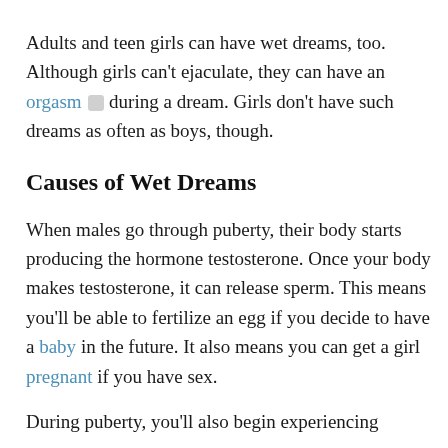Adults and teen girls can have wet dreams, too. Although girls can't ejaculate, they can have an orgasm during a dream. Girls don't have such dreams as often as boys, though.
Causes of Wet Dreams
When males go through puberty, their body starts producing the hormone testosterone. Once your body makes testosterone, it can release sperm. This means you'll be able to fertilize an egg if you decide to have a baby in the future. It also means you can get a girl pregnant if you have sex.
During puberty, you'll also begin experiencing different types of...